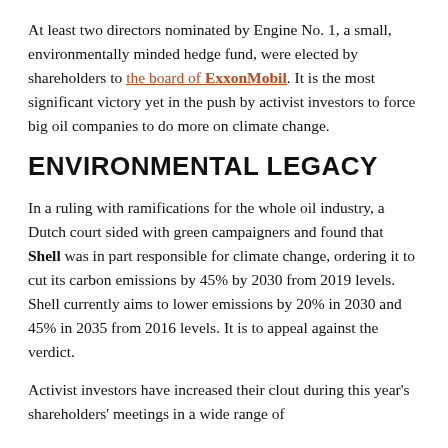At least two directors nominated by Engine No. 1, a small, environmentally minded hedge fund, were elected by shareholders to the board of ExxonMobil. It is the most significant victory yet in the push by activist investors to force big oil companies to do more on climate change.
ENVIRONMENTAL LEGACY
In a ruling with ramifications for the whole oil industry, a Dutch court sided with green campaigners and found that Shell was in part responsible for climate change, ordering it to cut its carbon emissions by 45% by 2030 from 2019 levels. Shell currently aims to lower emissions by 20% in 2030 and 45% in 2035 from 2016 levels. It is to appeal against the verdict.
Activist investors have increased their clout during this year's shareholders' meetings in a wide range of